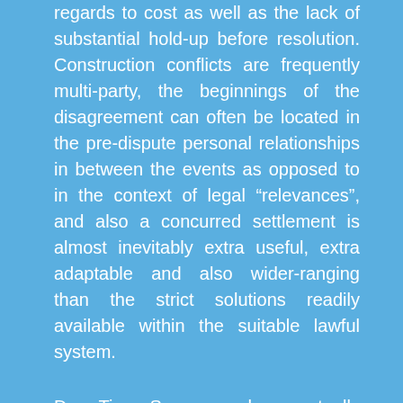regards to cost as well as the lack of substantial hold-up before resolution. Construction conflicts are frequently multi-party, the beginnings of the disagreement can often be located in the pre-dispute personal relationships in between the events as opposed to in the context of legal "relevances", and also a concurred settlement is almost inevitably extra useful, extra adaptable and also wider-ranging than the strict solutions readily available within the suitable lawful system.
Dr. Tim Sampson has actually previously explained that there is a distinctive stress in between the proclaimed court approval of ADR and the increasing usage of the adjudication process. It holds true that the method of "ambush adjudication" and the strict time frame appropriate